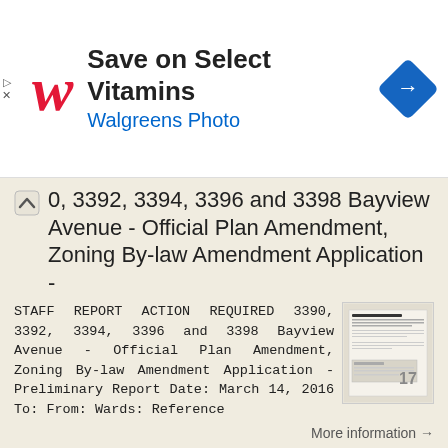[Figure (other): Walgreens advertisement banner: Walgreens logo, 'Save on Select Vitamins', 'Walgreens Photo', navigation icon]
0, 3392, 3394, 3396 and 3398 Bayview Avenue - Official Plan Amendment, Zoning By-law Amendment Application -
STAFF REPORT ACTION REQUIRED 3390, 3392, 3394, 3396 and 3398 Bayview Avenue - Official Plan Amendment, Zoning By-law Amendment Application - Preliminary Report Date: March 14, 2016 To: From: Wards: Reference
More information →
50 and 52 Finch Avenue East - Official Plan and Zoning By-law Amendment Applications - Preliminary Report